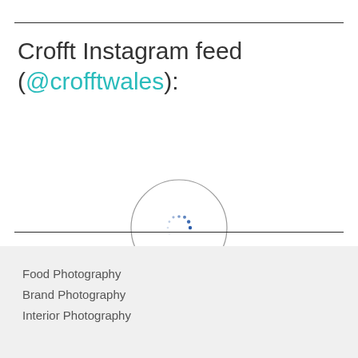Crofft Instagram feed (@crofftwales):
[Figure (other): A loading spinner — a circle outline with small blue dots arranged in a circular arc in the center, indicating loading state.]
Food Photography
Brand Photography
Interior Photography